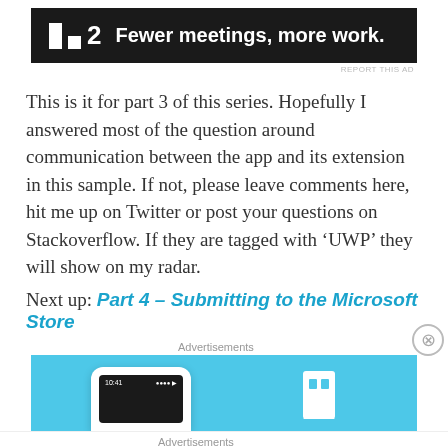[Figure (screenshot): Advertisement banner for 'Fewer meetings, more work.' by a product with logo showing a square icon and the number 2, dark background with white text.]
REPORT THIS AD
This is it for part 3 of this series. Hopefully I answered most of the question around communication between the app and its extension in this sample. If not, please leave comments here, hit me up on Twitter or post your questions on Stackoverflow. If they are tagged with ‘UWP’ they will show on my radar.
Next up: Part 4 – Submitting to the Microsoft Store
Advertisements
[Figure (screenshot): Advertisement banner with light blue background showing a phone mockup and a bookmark icon.]
Advertisements
[Figure (screenshot): Pocket Casts advertisement: 'The go-to app for podcast lovers.' with colorful tile logo and Pocket Casts brand logo.]
REPORT THIS AD